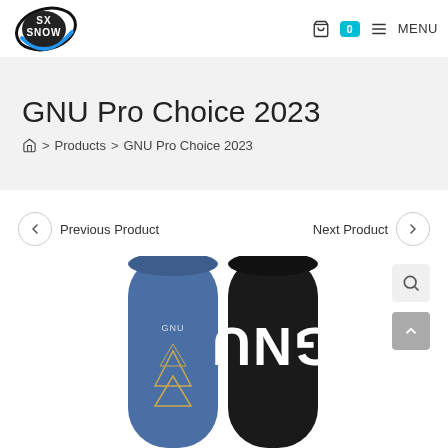[Figure (logo): SX Snow logo — circular swoosh in blue and black with SX SNOW text in white on black letters]
🛍 0  ≡ MENU
GNU Pro Choice 2023
🏠 > Products > GNU Pro Choice 2023
◀ Previous Product
Next Product ▶
[Figure (photo): Two GNU Pro Choice 2023 snowboards side by side — left board is blue with geometric triangle pattern, right board is black with GNU logo in white]